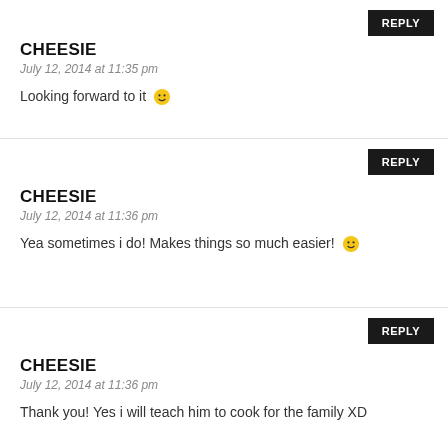CHEESIE
July 12, 2014 at 11:35 pm
Looking forward to it 😀
CHEESIE
July 12, 2014 at 11:36 pm
Yea sometimes i do! Makes things so much easier! 😀
CHEESIE
July 12, 2014 at 11:36 pm
Thank you! Yes i will teach him to cook for the family XD